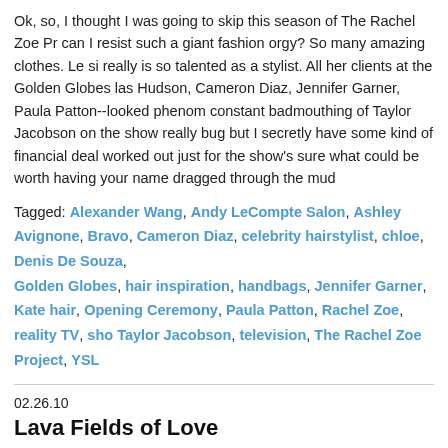Ok, so, I thought I was going to skip this season of The Rachel Zoe Pr... can I resist such a giant fashion orgy? So many amazing clothes. Le si... really is so talented as a stylist. All her clients at the Golden Globes las... Hudson, Cameron Diaz, Jennifer Garner, Paula Patton--looked pheno... constant badmouthing of Taylor Jacobson on the show really bug but I... secretly have some kind of financial deal worked out just for the show's... sure what could be worth having your name dragged through the mud...
Tagged: Alexander Wang, Andy LeCompte Salon, Ashley Avignone, Bravo, Cameron Diaz, celebrity hairstylist, chloe, Denis De Souza, Golden Globes, hair inspiration, handbags, Jennifer Garner, Kate hair, Opening Ceremony, Paula Patton, Rachel Zoe, reality TV, sho... Taylor Jacobson, television, The Rachel Zoe Project, YSL
02.26.10
Lava Fields of Love
accessories, fashion, shopping | Comments Off
Just a little heads up for those of you who love Hayden-Harnett. Their ... Spring/Summer 2010 collection of handbags, apparel, swimwear and a...